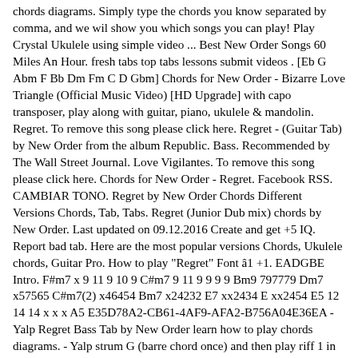chords diagrams. Simply type the chords you know separated by comma, and we wil show you which songs you can play! Play Crystal Ukulele using simple video ... Best New Order Songs 60 Miles An Hour. fresh tabs top tabs lessons submit videos . [Eb G Abm F Bb Dm Fm C D Gbm] Chords for New Order - Bizarre Love Triangle (Official Music Video) [HD Upgrade] with capo transposer, play along with guitar, piano, ukulele & mandolin. Regret. To remove this song please click here. Regret - (Guitar Tab) by New Order from the album Republic. Bass. Recommended by The Wall Street Journal. Love Vigilantes. To remove this song please click here. Chords for New Order - Regret. Facebook RSS. CAMBIAR TONO. Regret by New Order Chords Different Versions Chords, Tab, Tabs. Regret (Junior Dub mix) chords by New Order. Last updated on 09.12.2016 Create and get +5 IQ. Report bad tab. Here are the most popular versions Chords, Ukulele chords, Guitar Pro. How to play "Regret" Font â1 +1. EADGBE Intro. F#m7 x 9 11 9 10 9 C#m7 9 11 9 9 9 9 Bm9 797779 Dm7 x57565 C#m7(2) x46454 Bm7 x24232 E7 xx2434 E xx2454 E5 12 14 14 x x x A5 E35D78A2-CB61-4AF9-AFA2-B756A04E36EA - Yalp Regret Bass Tab by New Order learn how to play chords diagrams. - Yalp strum G (barre chord once) and then play riff 1 in C like this: Verse. Intro (As in most New Order songs, the bass line is important here). Regret chords by New Order with chords drawings, easy version, 12 key variations and much more. Run Wild. Regret Ukulele - New Order, Version (1). Regret Tuning: C G E A. New Order Regret. New Order's rise